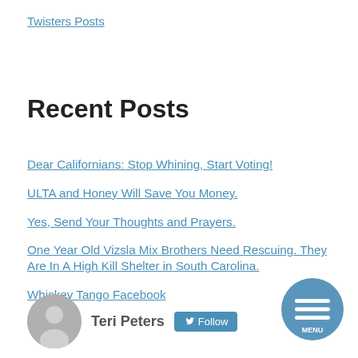Twisters Posts
Recent Posts
Dear Californians: Stop Whining, Start Voting!
ULTA and Honey Will Save You Money.
Yes, Send Your Thoughts and Prayers.
One Year Old Vizsla Mix Brothers Need Rescuing. They Are In A High Kill Shelter in South Carolina.
Whiskey Tango Facebook
Teri Peters Follow